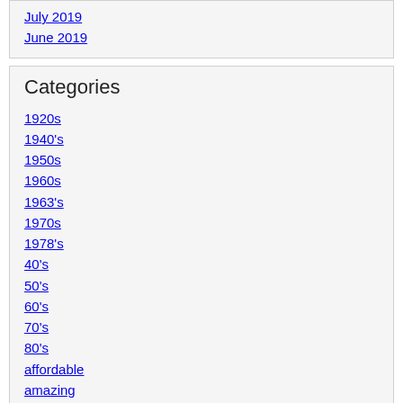July 2019
June 2019
Categories
1920s
1940's
1950s
1960s
1963's
1970s
1978's
40's
50's
60's
70's
80's
affordable
amazing
angelus
antique
antiques